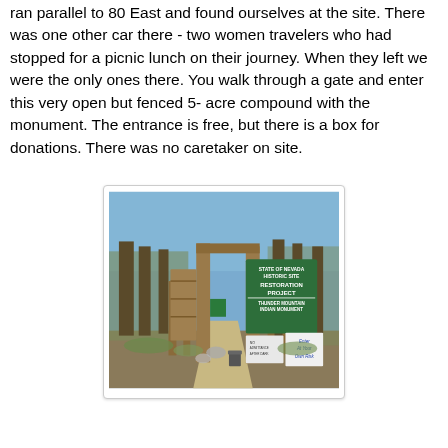ran parallel to 80 East and found ourselves at the site. There was one other car there - two women travelers who had stopped for a picnic lunch on their journey. When they left we were the only ones there. You walk through a gate and enter this very open but fenced 5- acre compound with the monument. The entrance is free, but there is a box for donations. There was no caretaker on site.
[Figure (photo): Entrance gate to Thunder Mountain Indian Monument, a rustic wooden gate with signs reading 'State of Nevada Historic Site Restoration Project' and 'Thunder Mountain Indian Monument', with a smaller sign 'Enter At Your Own Risk'. Trees and scrub vegetation visible in background.]